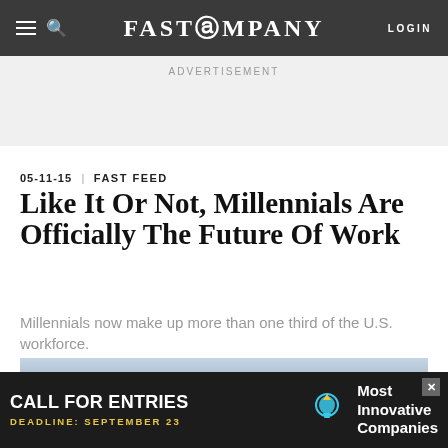FAST COMPANY | LOGIN
ADVERTISEMENT
05-11-15 | FAST FEED
Like It Or Not, Millennials Are Officially The Future Of Work
Millennials now make up more than one third of the U.S. workforce.
[Figure (photo): Photo of people at work, partially visible at bottom of page]
[Figure (infographic): Bottom advertisement: CALL FOR ENTRIES, DEADLINE: SEPTEMBER 23, Most Innovative Companies, with lightbulb icon]